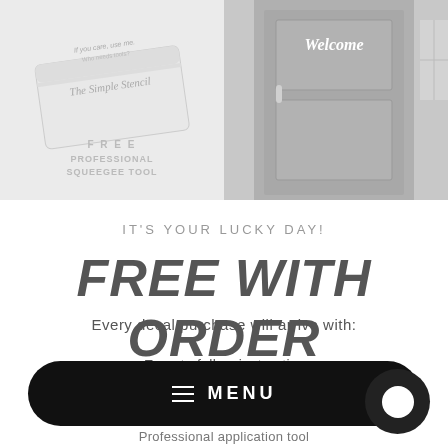[Figure (photo): Product image on left showing a wooden sign with The Simple Stencil branding and text 'FREE PROFESSIONAL SQUEEGEE TOOL' below. Right side shows a dark door with a white 'Welcome' decal script.]
IT'S YOUR LUCKY DAY!
FREE WITH ORDER
Every decal purchase will arrive with:
• Easy to follow instructions
MENU
Professional application tool